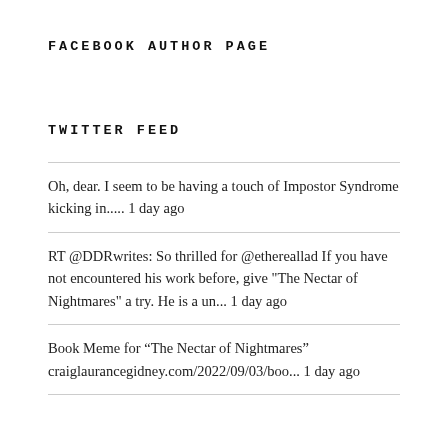FACEBOOK AUTHOR PAGE
TWITTER FEED
Oh, dear. I seem to be having a touch of Impostor Syndrome kicking in..... 1 day ago
RT @DDRwrites: So thrilled for @ethereallad If you have not encountered his work before, give "The Nectar of Nightmares" a try. He is a un... 1 day ago
Book Meme for “The Nectar of Nightmares” craiglaurancegidney.com/2022/09/03/boo... 1 day ago